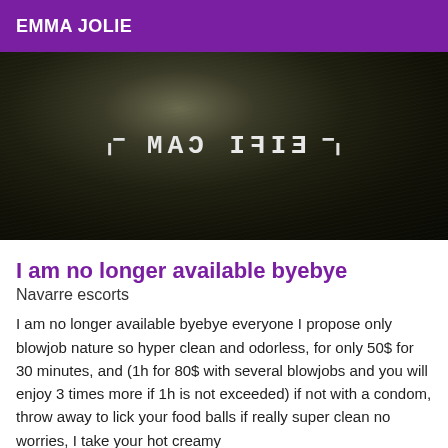EMMA JOLIE
[Figure (photo): Dark background photo with mirrored/reversed watermark text reading 'MAD CAM' (EIFI CAM reversed) with bracket corners on the sides, over what appears to be dark curly hair.]
I am no longer available byebye
Navarre escorts
I am no longer available byebye everyone I propose only blowjob nature so hyper clean and odorless, for only 50$ for 30 minutes, and (1h for 80$ with several blowjobs and you will enjoy 3 times more if 1h is not exceeded) if not with a condom, throw away to lick your food balls if really super clean no worries, I take your hot creamy